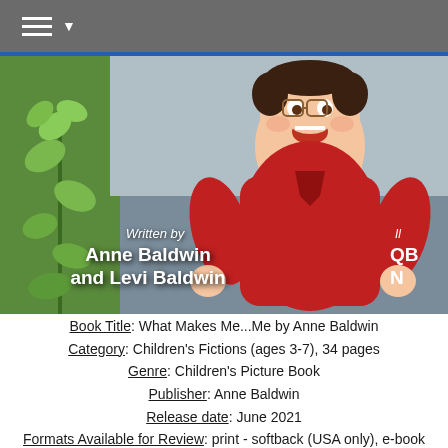[Figure (illustration): Book cover showing a cartoon boy in a red shirt smiling, written by Anne Baldwin and Levi Baldwin, illustrated by QBN, with green plants and a grey road background. Navigation header bar with hamburger menu above.]
Book Title: What Makes Me...Me by Anne Baldwin
Category:  Children's Fictions (ages 3-7), 34 pages
Genre:  Children's Picture Book
Publisher:  Anne Baldwin
Release date:   June 2021
Formats Available for Review: print - softback (USA only), e-book PDF
Tour dates: May 2 to May 20, 2022